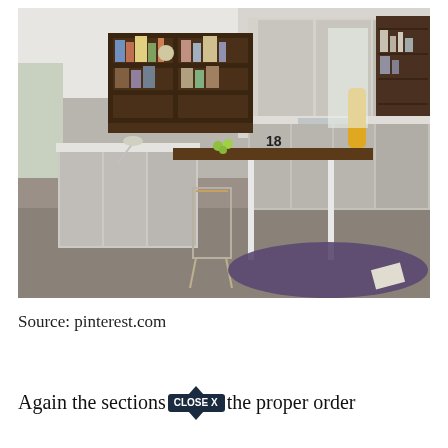[Figure (photo): Modern open-plan kitchen with cream/white gloss cabinetry, dark wood wall shelving units, a central kitchen island with a dark wood top and white legs, bar stools, dark concrete floor, a purple shag rug in the foreground, and various kitchen accessories.]
Source: pinterest.com
Again the sections the proper order